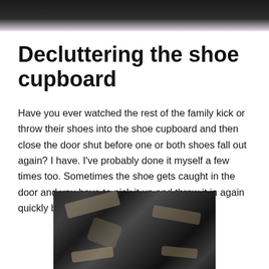[Figure (photo): Dark header image with reddish-brown tones at top of page]
Decluttering the shoe cupboard
Have you ever watched the rest of the family kick or throw their shoes into the shoe cupboard and then close the door shut before one or both shoes fall out again? I have. I've probably done it myself a few times too. Sometimes the shoe gets caught in the door and you have to pick it up and throw it in again quickly before quickly shutting it firmly.
[Figure (photo): Photo of a cluttered pile of shoes in dark tones]